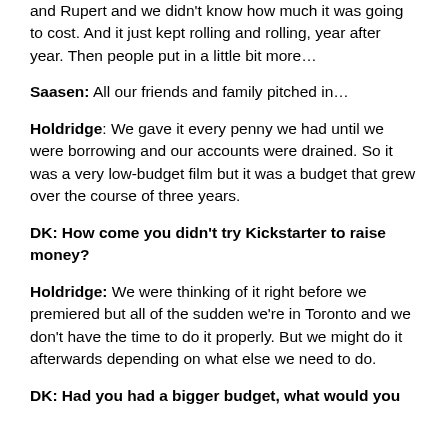and Rupert and we didn't know how much it was going to cost. And it just kept rolling and rolling, year after year. Then people put in a little bit more…
Saasen: All our friends and family pitched in…
Holdridge: We gave it every penny we had until we were borrowing and our accounts were drained. So it was a very low-budget film but it was a budget that grew over the course of three years.
DK: How come you didn't try Kickstarter to raise money?
Holdridge: We were thinking of it right before we premiered but all of the sudden we're in Toronto and we don't have the time to do it properly. But we might do it afterwards depending on what else we need to do.
DK: Had you had a bigger budget, what would you